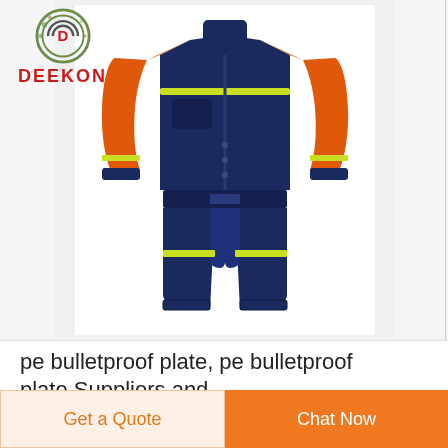[Figure (photo): Deekon brand logo with circular icon and red DEEKON text, positioned top-left of product image area]
[Figure (photo): A two-piece workwear suit consisting of a navy blue jacket with orange sleeves and yellow-green reflective stripes, and navy blue trousers with yellow-green reflective stripes, displayed on a white background]
pe bulletproof plate, pe bulletproof plate Suppliers and
Get a Quote
Chat Now